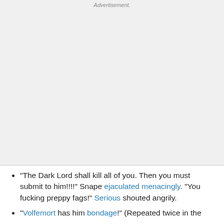[Figure (other): Advertisement placeholder area with light gray background]
"The Dark Lord shall kill all of you. Then you must submit to him!!!!" Snape ejaculated menacingly. "You fucking preppy fags!" Serious shouted angrily.
"Volfemort has him bondage!" (Repeated twice in the